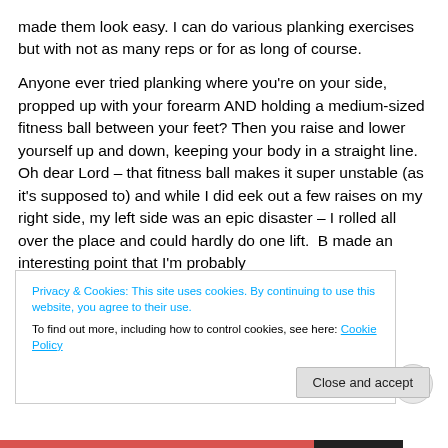made them look easy. I can do various planking exercises but with not as many reps or for as long of course.
Anyone ever tried planking where you're on your side, propped up with your forearm AND holding a medium-sized fitness ball between your feet? Then you raise and lower yourself up and down, keeping your body in a straight line. Oh dear Lord – that fitness ball makes it super unstable (as it's supposed to) and while I did eek out a few raises on my right side, my left side was an epic disaster – I rolled all over the place and could hardly do one lift. B made an interesting point that I'm probably
Privacy & Cookies: This site uses cookies. By continuing to use this website, you agree to their use.
To find out more, including how to control cookies, see here: Cookie Policy
Close and accept